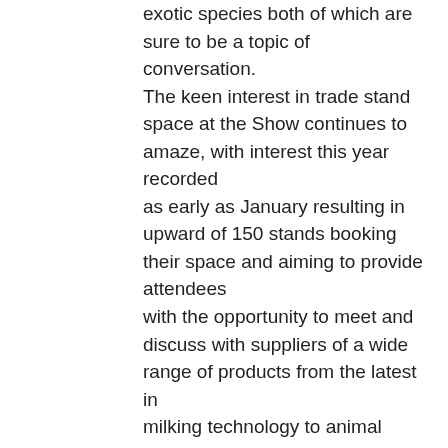exotic species both of which are sure to be a topic of conversation. The keen interest in trade stand space at the Show continues to amaze, with interest this year recorded as early as January resulting in upward of 150 stands booking their space and aiming to provide attendees with the opportunity to meet and discuss with suppliers of a wide range of products from the latest in milking technology to animal nutrition, veterinary products, detergents, animal dosing, AI companies and leading financial institutions to name but a few. Other new features at this year's Show sure to garner keen interest from farmers is when leading tractor sales teams take part in tractor and loader bale handling demonstration at introduce